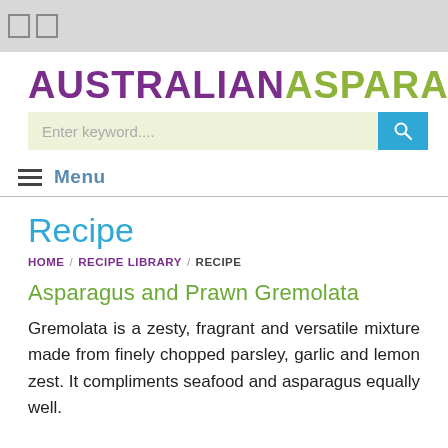AUSTRALIANASPARAGUS
Enter keyword....
Menu
Recipe
HOME / RECIPE LIBRARY / RECIPE
Asparagus and Prawn Gremolata
Gremolata is a zesty, fragrant and versatile mixture made from finely chopped parsley, garlic and lemon zest. It compliments seafood and asparagus equally well.